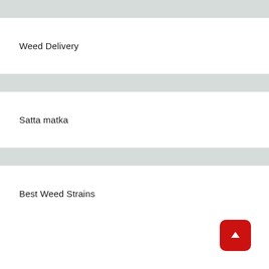Weed Delivery
Satta matka
Best Weed Strains